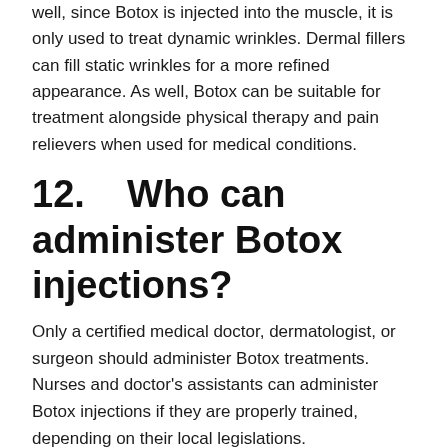well, since Botox is injected into the muscle, it is only used to treat dynamic wrinkles. Dermal fillers can fill static wrinkles for a more refined appearance. As well, Botox can be suitable for treatment alongside physical therapy and pain relievers when used for medical conditions.
12.    Who can administer Botox injections?
Only a certified medical doctor, dermatologist, or surgeon should administer Botox treatments. Nurses and doctor's assistants can administer Botox injections if they are properly trained, depending on their local legislations. Otolaryngologists, commonly known as ear, nose, and throat doctors, can also administer and supervise Botox treatments. Patients should make sure a qualified injector or doctor administers the administration of Botox.